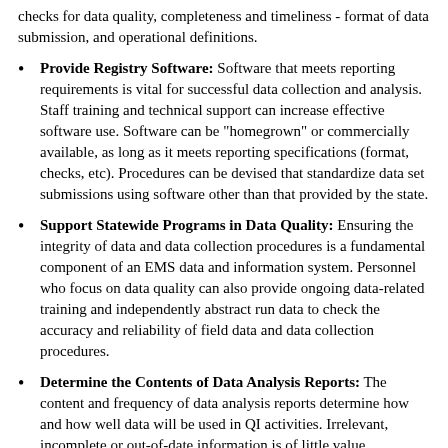checks for data quality, completeness and timeliness - format of data submission, and operational definitions.
Provide Registry Software: Software that meets reporting requirements is vital for successful data collection and analysis. Staff training and technical support can increase effective software use. Software can be "homegrown" or commercially available, as long as it meets reporting specifications (format, checks, etc). Procedures can be devised that standardize data set submissions using software other than that provided by the state.
Support Statewide Programs in Data Quality: Ensuring the integrity of data and data collection procedures is a fundamental component of an EMS data and information system. Personnel who focus on data quality can also provide ongoing data-related training and independently abstract run data to check the accuracy and reliability of field data and data collection procedures.
Determine the Contents of Data Analysis Reports: The content and frequency of data analysis reports determine how and how well data will be used in QI activities. Irrelevant, incomplete or out-of-date information is of little value. Specifically identifying how the data will be used can